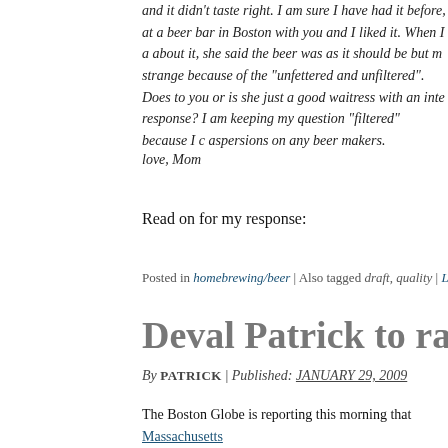and it didn't taste right. I am sure I have had it before, at a beer bar in Boston with you and I liked it. When I a about it, she said the beer was as it should be but m strange because of the "unfettered and unfiltered". Does to you or is she just a good waitress with an inte response? I am keeping my question "filtered" because I c aspersions on any beer makers.
love, Mom
Read on for my response:
Posted in homebrewing/beer | Also tagged draft, quality | Leave a comment
Deval Patrick to raise taxes on b
By PATRICK | Published: JANUARY 29, 2009
The Boston Globe is reporting this morning that Massachusetts has announced he will raise taxes on beer, as well as other a